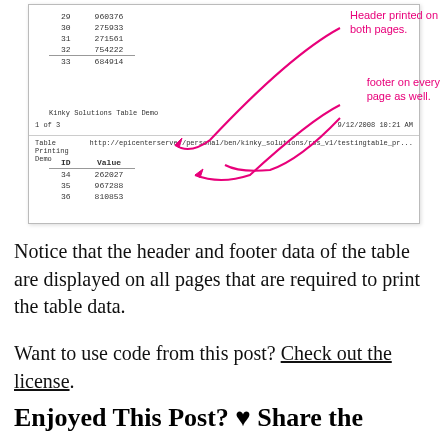[Figure (screenshot): Screenshot of a table printing demo showing two document pages. The top page shows rows 29-33 with IDs and values, a footer 'Kinky Solutions Table Demo', page number '1 of 3', and timestamp '9/12/2008 10:21 AM'. The bottom page shows a header with 'Table Printing Demo' and a URL, followed by rows 34-36 (ID, Value). Pink handwritten annotations point to the header ('Header printed on both pages.') and footer ('Footer on every page as well.').]
Notice that the header and footer data of the table are displayed on all pages that are required to print the table data.
Want to use code from this post? Check out the license.
Enjoyed This Post? ♥ Share the